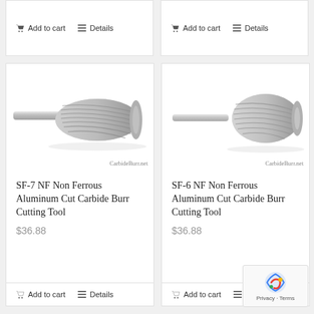[Figure (other): Top partial product card left - Add to cart and Details buttons visible]
[Figure (other): Top partial product card right - Add to cart and Details buttons visible]
[Figure (photo): SF-7 NF Non Ferrous Aluminum Cut Carbide Burr Cutting Tool product image with CarbideBurr.net watermark]
SF-7 NF Non Ferrous Aluminum Cut Carbide Burr Cutting Tool
$36.88
[Figure (photo): SF-6 NF Non Ferrous Aluminum Cut Carbide Burr Cutting Tool product image with CarbideBurr.net watermark]
SF-6 NF Non Ferrous Aluminum Cut Carbide Burr Cutting Tool
$36.88